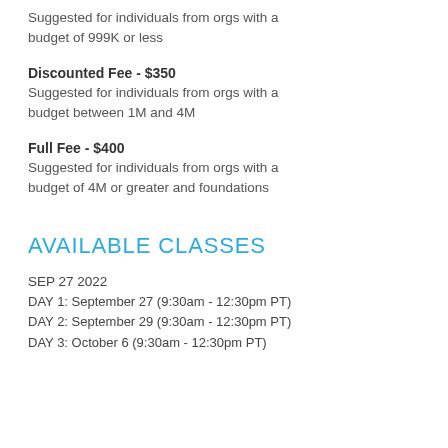Suggested for individuals from orgs with a budget of 999K or less
Discounted Fee - $350
Suggested for individuals from orgs with a budget between 1M and 4M
Full Fee - $400
Suggested for individuals from orgs with a budget of 4M or greater and foundations
AVAILABLE CLASSES
SEP 27 2022
DAY 1: September 27 (9:30am - 12:30pm PT)
DAY 2: September 29 (9:30am - 12:30pm PT)
DAY 3: October 6 (9:30am - 12:30pm PT)